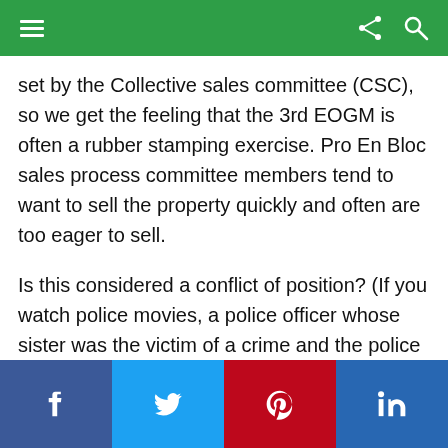Navigation bar with menu, share, and search icons
set by the Collective sales committee (CSC), so we get the feeling that the 3rd EOGM is often a rubber stamping exercise. Pro En Bloc sales process committee members tend to want to sell the property quickly and often are too eager to sell.
Is this considered a conflict of position? (If you watch police movies, a police officer whose sister was the victim of a crime and the police officer is automatically removed from the investigation to catch the perpetrator so as to maintain independence. But in the case of En Bloc sales
Social share buttons: Facebook, Twitter, Pinterest, LinkedIn